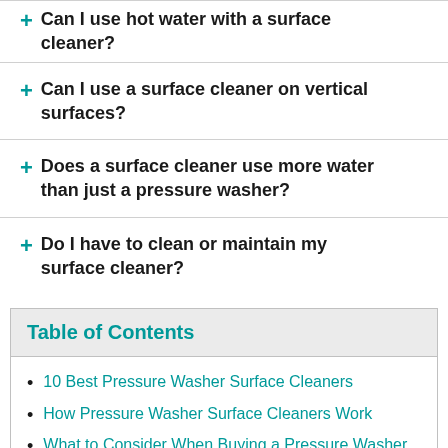+ Can I use hot water with a surface cleaner?
+ Can I use a surface cleaner on vertical surfaces?
+ Does a surface cleaner use more water than just a pressure washer?
+ Do I have to clean or maintain my surface cleaner?
Table of Contents
10 Best Pressure Washer Surface Cleaners
How Pressure Washer Surface Cleaners Work
What to Consider When Buying a Pressure Washer Surface Cleaner
Pressure Washer Surface Cleaner FAQs